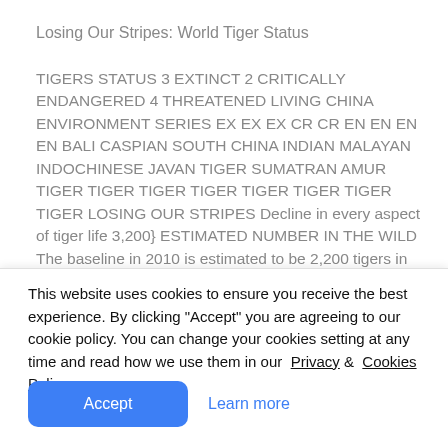Losing Our Stripes: World Tiger Status
TIGERS STATUS 3 EXTINCT 2 CRITICALLY ENDANGERED 4 THREATENED LIVING CHINA ENVIRONMENT SERIES EX EX EX CR CR EN EN EN EN BALI CASPIAN SOUTH CHINA INDIAN MALAYAN INDOCHINESE JAVAN TIGER SUMATRAN AMUR TIGER TIGER TIGER TIGER TIGER TIGER TIGER TIGER LOSING OUR STRIPES Decline in every aspect of tiger life 3,200} ESTIMATED NUMBER IN THE WILD The baseline in 2010 is estimated to be 2,200 tigers in viable, protected breeding populations and
This website uses cookies to ensure you receive the best experience. By clicking "Accept" you are agreeing to our cookie policy. You can change your cookies setting at any time and read how we use them in our  Privacy &  Cookies Policy.
Accept
Learn more